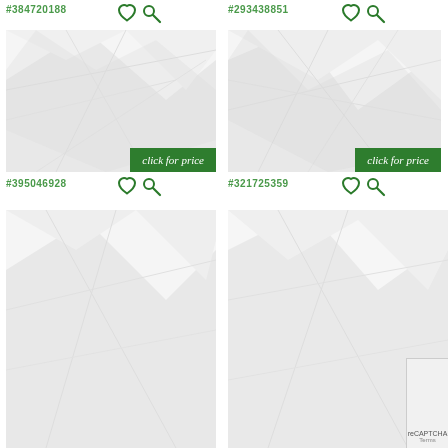#384720188
[Figure (illustration): Abstract white/light grey geometric polygonal background image (thumbnail), with 'click for price' green button overlay]
#395046928
#293438851
[Figure (illustration): Abstract white/light grey geometric polygonal background image (thumbnail), with 'click for price' green button overlay]
#321725359
[Figure (illustration): Abstract white/light grey geometric polygonal background image (thumbnail, partial, bottom-left)]
[Figure (illustration): Abstract white/light grey geometric polygonal background image (thumbnail, partial, bottom-right)]